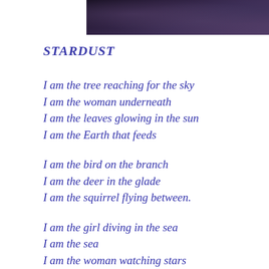[Figure (photo): Dark atmospheric sky/night scene photo banner at the top of the page]
STARDUST
I am the tree reaching for the sky
I am the woman underneath
I am the leaves glowing in the sun
I am the Earth that feeds

I am the bird on the branch
I am the deer in the glade
I am the squirrel flying between.

I am the girl diving in the sea
I am the sea
I am the woman watching stars